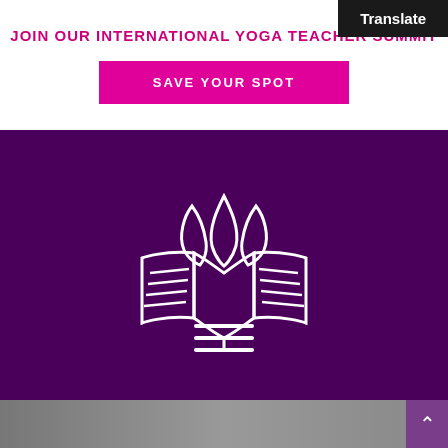Translate
JOIN OUR INTERNATIONAL YOGA TEACHER SUMMIT
SAVE YOUR SPOT
[Figure (logo): White outline logo of a lotus flower combined with an open book on a dark purple background, with three horizontal lines (hamburger menu icon) below it]